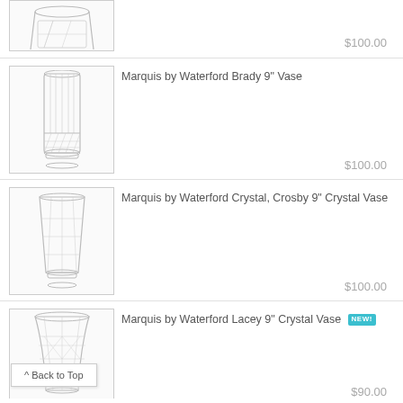[Figure (photo): Crystal vase product image (top, partially cut off)]
$100.00
[Figure (photo): Marquis by Waterford Brady 9" Vase crystal product image]
Marquis by Waterford Brady 9" Vase
$100.00
[Figure (photo): Marquis by Waterford Crystal, Crosby 9" Crystal Vase product image]
Marquis by Waterford Crystal, Crosby 9" Crystal Vase
$100.00
[Figure (photo): Marquis by Waterford Lacey 9" Crystal Vase product image]
Marquis by Waterford Lacey 9" Crystal Vase NEW!
$90.00
^ Back to Top